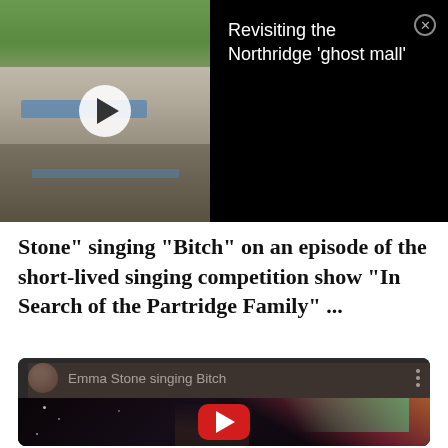[Figure (screenshot): Ad banner showing a video thumbnail of an outdoor mall (Northridge 'ghost mall') with a play button, title 'Revisiting the Northridge ghost mall' and a close (X) button on black background]
Stone" singing "Bitch" on an episode of the short-lived singing competition show "In Search of the Partridge Family" ...
[Figure (screenshot): Embedded YouTube player showing 'Emma Stone singing Bitch' video — header with avatar, title text, and three-dot menu; video frame shows a young woman singing on stage with colorful stage lighting; large red YouTube play button overlay in center]